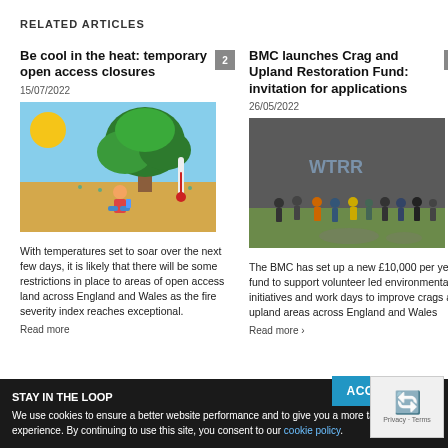RELATED ARTICLES
Be cool in the heat: temporary open access closures
15/07/2022
[Figure (illustration): Illustration of a child sitting under a tree on a hot sunny day with a thermometer]
With temperatures set to soar over the next few days, it is likely that there will be some restrictions in place to areas of open access land across England and Wales as the fire severity index reaches exceptional.
Read more
BMC launches Crag and Upland Restoration Fund: invitation for applications
26/05/2022
[Figure (photo): Group of people standing in front of a rock face with graffiti]
The BMC has set up a new £10,000 per year fund to support volunteer led environmental initiatives and work days to improve crags and upland areas across England and Wales
Read more
My Ar... Na... ha...
24/0...
[Figure (photo): Partial view of a mountain landscape photo]
As ... We... BM... to...
Cookie banner: STAY IN THE LOOP. We use cookies to ensure a better website performance and to give you a more tailored experience. By continuing to use this site, you consent to our cookie policy.
ACCEPT
[Figure (other): reCAPTCHA widget showing Privacy - Terms]